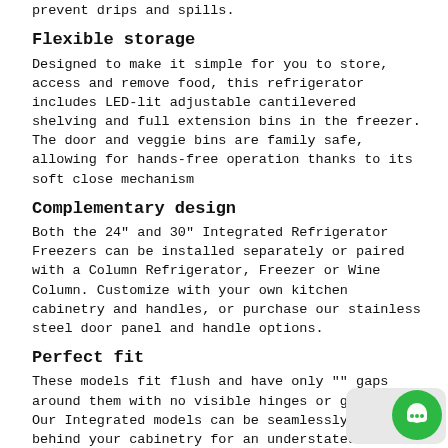prevent drips and spills.
Flexible storage
Designed to make it simple for you to store, access and remove food, this refrigerator includes LED-lit adjustable cantilevered shelving and full extension bins in the freezer. The door and veggie bins are family safe, allowing for hands-free operation thanks to its soft close mechanism
Complementary design
Both the 24" and 30" Integrated Refrigerator Freezers can be installed separately or paired with a Column Refrigerator, Freezer or Wine Column. Customize with your own kitchen cabinetry and handles, or purchase our stainless steel door panel and handle options.
Perfect fit
These models fit flush and have only "" gaps around them with no visible hinges or grilles. Our Integrated models can be seamlessly hidden behind your cabinetry for an understated and clean look with any kitchen layout.
Design quality